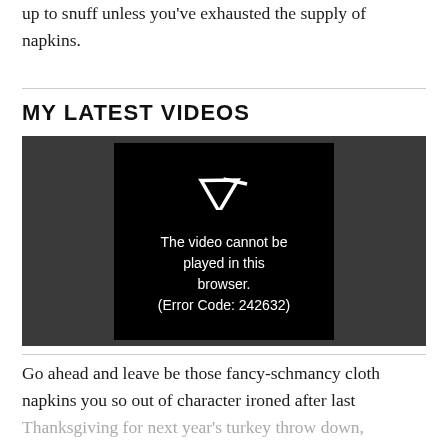up to snuff unless you've exhausted the supply of napkins.
MY LATEST VIDEOS
[Figure (screenshot): Video player showing error message: 'The video cannot be played in this browser. (Error Code: 242632)']
Go ahead and leave be those fancy-schmancy cloth napkins you so out of character ironed after last Thanksgiving for next year's turkey throw down, because when it's Q-time, manners that fit dinner with